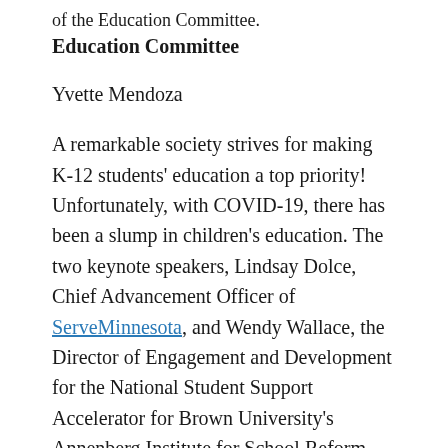of the Education Committee.
Education Committee
Yvette Mendoza
A remarkable society strives for making K-12 students' education a top priority! Unfortunately, with COVID-19, there has been a slump in children's education. The two keynote speakers, Lindsay Dolce, Chief Advancement Officer of ServeMinnesota, and Wendy Wallace, the Director of Engagement and Development for the National Student Support Accelerator for Brown University's Annenberg Institute for School Reform, have one mission: to improve student performance